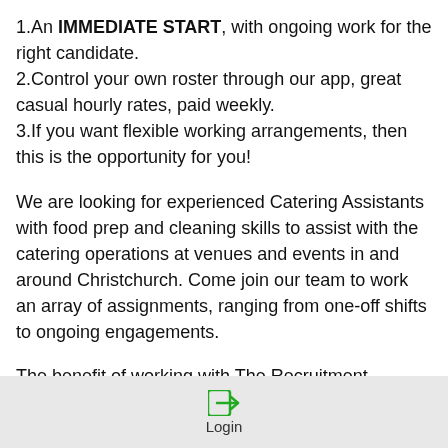1.An IMMEDIATE START, with ongoing work for the right candidate.
2.Control your own roster through our app, great casual hourly rates, paid weekly.
3.If you want flexible working arrangements, then this is the opportunity for you!
We are looking for experienced Catering Assistants with food prep and cleaning skills to assist with the catering operations at venues and events in and around Christchurch. Come join our team to work an array of assignments, ranging from one-off shifts to ongoing engagements.
The benefit of working with The Recruitment Network is that you can pick and choose your hours! If you want
Login